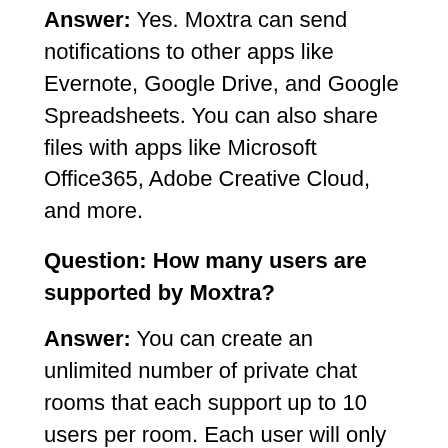Answer: Yes. Moxtra can send notifications to other apps like Evernote, Google Drive, and Google Spreadsheets. You can also share files with apps like Microsoft Office365, Adobe Creative Cloud, and more.
Question: How many users are supported by Moxtra?
Answer: You can create an unlimited number of private chat rooms that each support up to 10 users per room. Each user will only be able to join one room at a time.
Question: Does Slack have a mobile app?
Answer: Slack can be accessed on mobile